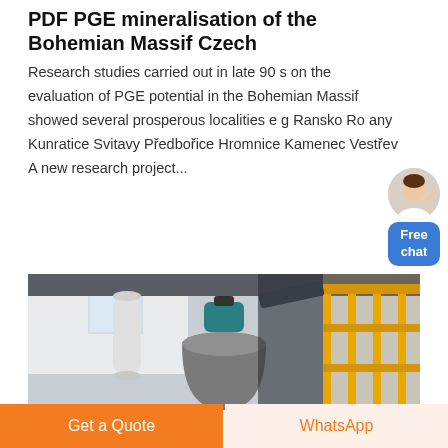PDF PGE mineralisation of the Bohemian Massif Czech
Research studies carried out in late 90 s on the evaluation of PGE potential in the Bohemian Massif showed several prosperous localities e g Ransko Ro any Kunratice Svitavy Předbořice Hromnice Kamenec Vestřev A new research project...
[Figure (photo): Industrial interior photograph showing metal ductwork, a large metal bucket or hopper, and yellow metal staircases/railings in what appears to be a mining or processing facility.]